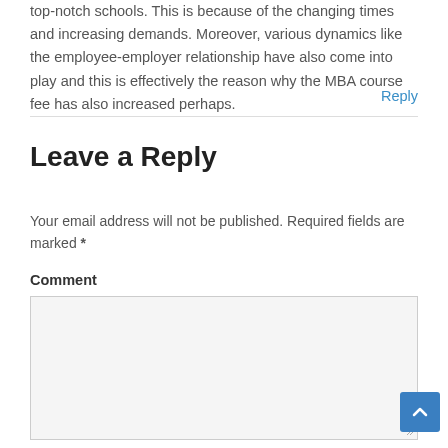top-notch schools. This is because of the changing times and increasing demands. Moreover, various dynamics like the employee-employer relationship have also come into play and this is effectively the reason why the MBA course fee has also increased perhaps.
Reply
Leave a Reply
Your email address will not be published. Required fields are marked *
Comment